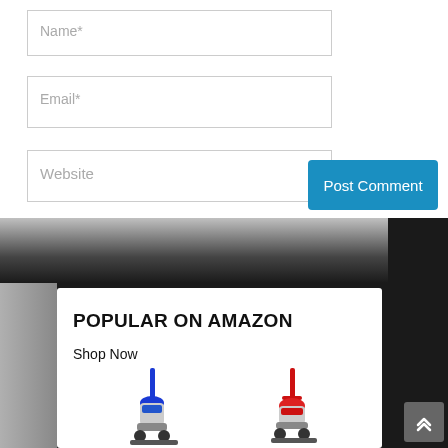[Figure (screenshot): Web form with Name, Email, Website input fields and a Post Comment button]
POPULAR ON AMAZON
Shop Now
[Figure (photo): Two upright vacuum cleaners, one blue and one red, displayed side by side]